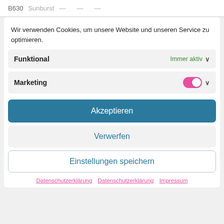B630   Sunburst   —   —   —
Wir verwenden Cookies, um unsere Website und unseren Service zu optimieren.
Funktional   Immer aktiv ∨
Marketing   [toggle on] ∨
Akzeptieren
Verwerfen
Einstellungen speichern
Datenschutzerklärung   Datenschutzerklärung   Impressum